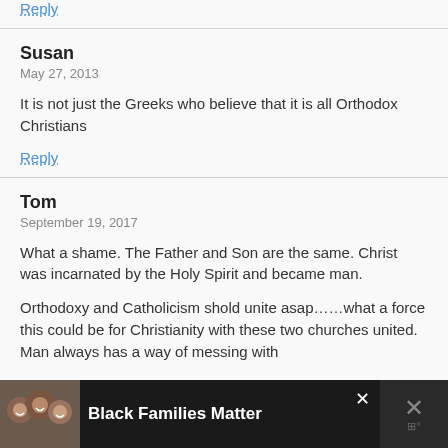Reply
Susan
May 27, 2013
It is not just the Greeks who believe that it is all Orthodox Christians
Reply
Tom
September 19, 2017
What a shame. The Father and Son are the same. Christ was incarnated by the Holy Spirit and became man.
Orthodoxy and Catholicism shold unite asap……what a force this could be for Christianity with these two churches united. Man always has a way of messing with
[Figure (other): Advertisement banner at bottom of page showing 'Black Families Matter' with photo of smiling Black family members and close buttons]